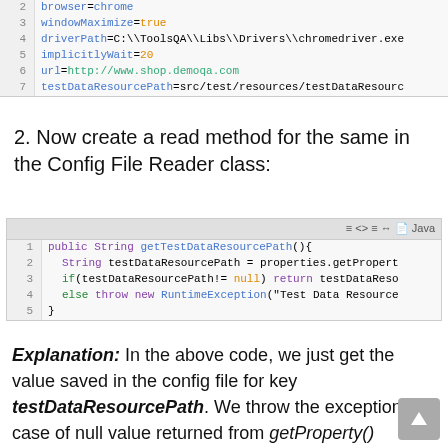[Figure (screenshot): Code snippet showing config file properties: browser=chrome, windowMaximize=true, driverPath, implicitlyWait=20, url, testDataResourcePath]
2. Now create a read method for the same in the Config File Reader class:
[Figure (screenshot): Java code block showing getTestDataResourcePath() method with String, if/else, return and throw RuntimeException]
Explanation: In the above code, we just get the value saved in the config file for key testDataResourcePath. We throw the exception in case of null value returned from getProperty() method or return the value if it is found not null.